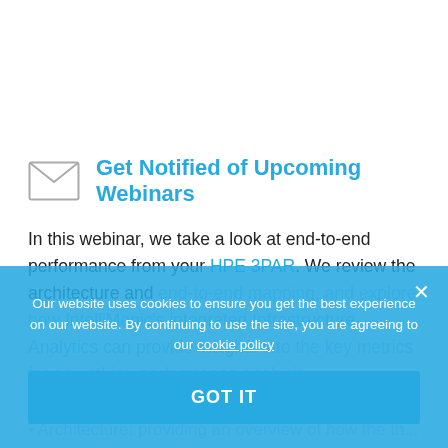Get Notified of Upcoming Webinars
In this webinar, we take a look at end-to-end performance from your HPE 3PAR. We review the architecture and end-to-end mapping, and explore how IntelliMagic's integrated Infrastructure Analytics can provide insights into the key metrics for performance analysis.
Topics include:
Architecture: providing an overview of how the th...
Our website uses cookies to ensure you get the best experience on our website. By continuing to use the site, you are agreeing to our cookie policy
GOT IT